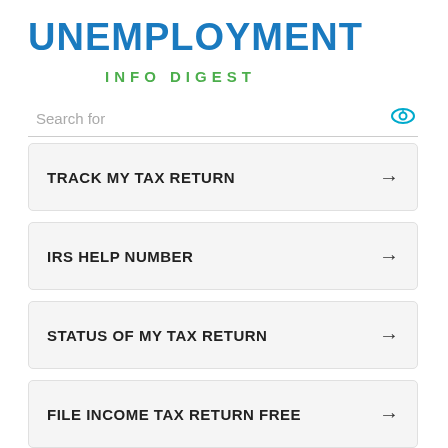UNEMPLOYMENT
INFO DIGEST
Search for
TRACK MY TAX RETURN →
IRS HELP NUMBER →
STATUS OF MY TAX RETURN →
FILE INCOME TAX RETURN FREE →
TAX BENEFIT FOR SENIOR CITIZENS →